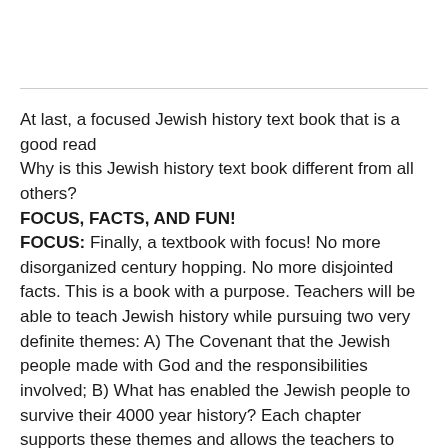At last, a focused Jewish history text book that is a good read
Why is this Jewish history text book different from all others?
FOCUS, FACTS, AND FUN!
FOCUS: Finally, a textbook with focus! No more disorganized century hopping. No more disjointed facts. This is a book with a purpose. Teachers will be able to teach Jewish history while pursuing two very definite themes: A) The Covenant that the Jewish people made with God and the responsibilities involved; B) What has enabled the Jewish people to survive their 4000 year history? Each chapter supports these themes and allows the teachers to maintain a clear teaching objective.